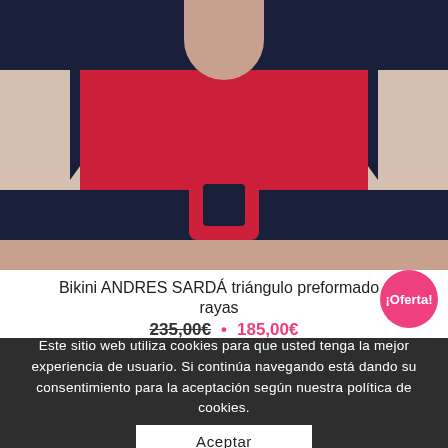[Figure (photo): Product photo of Bikini ANDRES SARDÁ triángulo preformado rayas — navy and red striped halter bikini top with a large red/navy buckle at center front.]
Bikini ANDRES SARDÁ triángulo preformado rayas
¡Oferta!
235,00€ • 185,00€
Este sitio web utiliza cookies para que usted tenga la mejor experiencia de usuario. Si continúa navegando está dando su consentimiento para la aceptación según nuestra política de cookies.
Aceptar